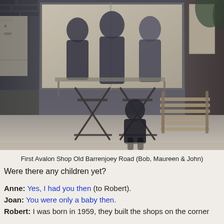[Figure (photo): Black and white photograph of the First Avalon Shop on Old Barrenjoey Road. Shows people (Bob, Maureen and John) visible through a shop window, with folding chairs and outdoor furniture in the foreground on a footpath.]
First Avalon Shop Old Barrenjoey Road (Bob, Maureen & John)
Were there any children yet?
Anne: Yes, I had you then (to Robert).
Joan: You were only a baby then.
Robert: I was born in 1959, they built the shops on the corner